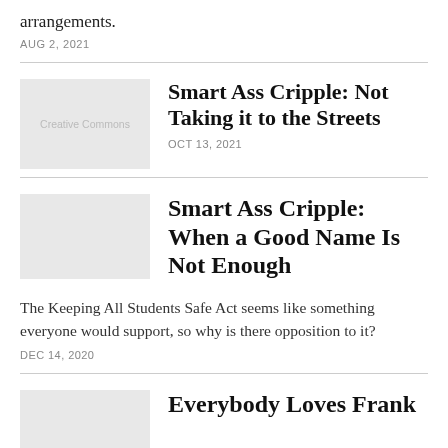arrangements.
AUG 2, 2021
Smart Ass Cripple: Not Taking it to the Streets
OCT 13, 2021
Smart Ass Cripple: When a Good Name Is Not Enough
The Keeping All Students Safe Act seems like something everyone would support, so why is there opposition to it?
DEC 14, 2020
Everybody Loves Frank